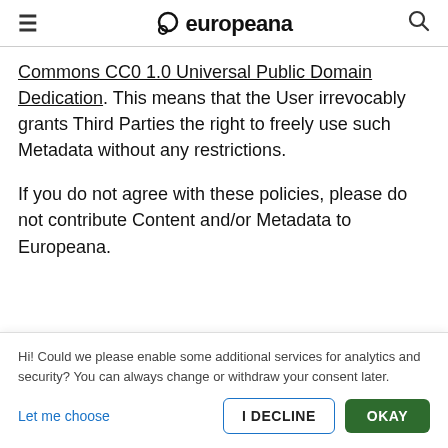≡  europeana  🔍
Commons CC0 1.0 Universal Public Domain Dedication. This means that the User irrevocably grants Third Parties the right to freely use such Metadata without any restrictions.
If you do not agree with these policies, please do not contribute Content and/or Metadata to Europeana.
Hi! Could we please enable some additional services for analytics and security? You can always change or withdraw your consent later.
Let me choose   I DECLINE   OKAY